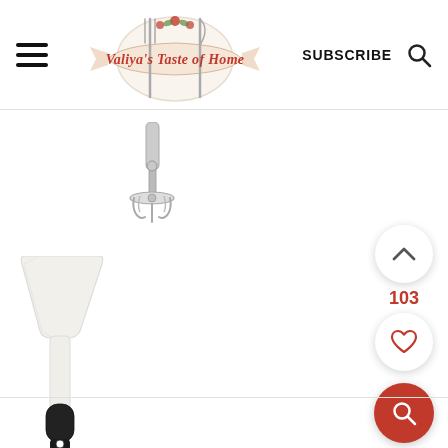[Figure (logo): Valiya's Taste of Home blog logo with decorative plate, fork and knife, flowers and ribbon banner]
SUBSCRIBE
[Figure (illustration): Steel potato masher kitchen tool with handle pointing up]
[Figure (illustration): White silicone spatula with black handle]
103